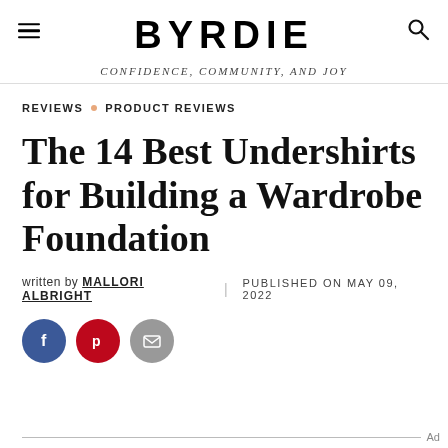BYRDIE — CONFIDENCE, COMMUNITY, AND JOY
REVIEWS · PRODUCT REVIEWS
The 14 Best Undershirts for Building a Wardrobe Foundation
written by MALLORI ALBRIGHT  PUBLISHED ON MAY 09, 2022
[Figure (infographic): Social share buttons: Facebook (blue circle), Pinterest (red circle), Email (gray circle)]
Ad